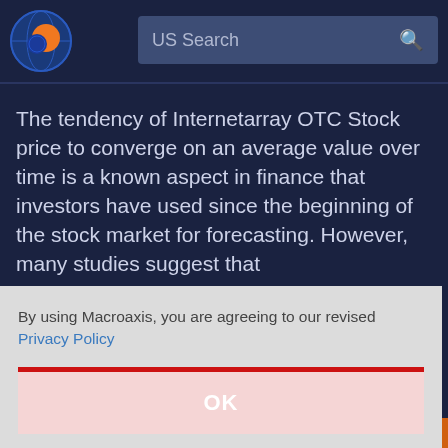[Figure (logo): Macroaxis circular logo with orange and blue globe graphic]
US Search
The tendency of Internetarray OTC Stock price to converge on an average value over time is a known aspect in finance that investors have used since the beginning of the stock market for forecasting. However, many studies suggest that
By using Macroaxis, you are agreeing to our revised Privacy Policy
OK
Odds to move over $